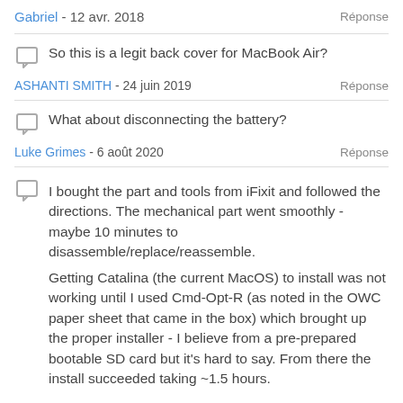Gabriel - 12 avr. 2018   Réponse
So this is a legit back cover for MacBook Air?
ASHANTI SMITH - 24 juin 2019   Réponse
What about disconnecting the battery?
Luke Grimes - 6 août 2020   Réponse
I bought the part and tools from iFixit and followed the directions. The mechanical part went smoothly - maybe 10 minutes to disassemble/replace/reassemble.

Getting Catalina (the current MacOS) to install was not working until I used Cmd-Opt-R (as noted in the OWC paper sheet that came in the box) which brought up the proper installer - I believe from a pre-prepared bootable SD card but it's hard to say. From there the install succeeded taking ~1.5 hours.